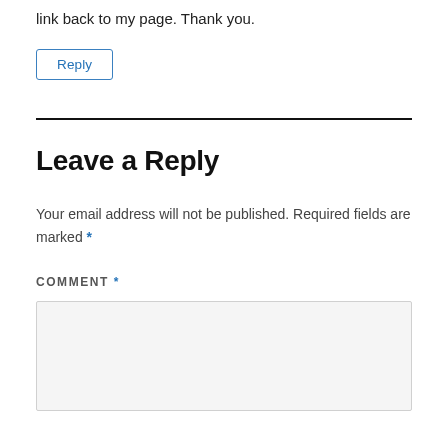link back to my page. Thank you.
Reply
Leave a Reply
Your email address will not be published. Required fields are marked *
COMMENT *
[Figure (other): Empty comment text area input box with light gray background]